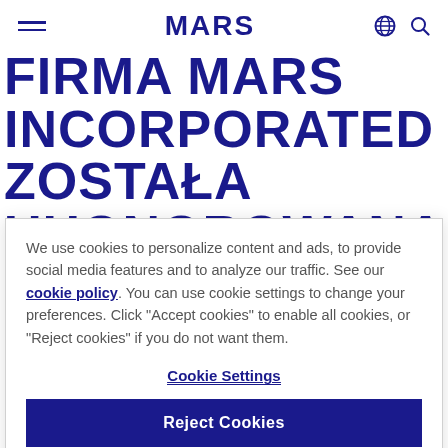MARS
FIRMA MARS INCORPORATED ZOSTAŁA UHONOROWANA TYTUŁEM NAJLEPSZEGO
We use cookies to personalize content and ads, to provide social media features and to analyze our traffic. See our cookie policy. You can use cookie settings to change your preferences. Click "Accept cookies" to enable all cookies, or "Reject cookies" if you do not want them.
Cookie Settings
Reject Cookies